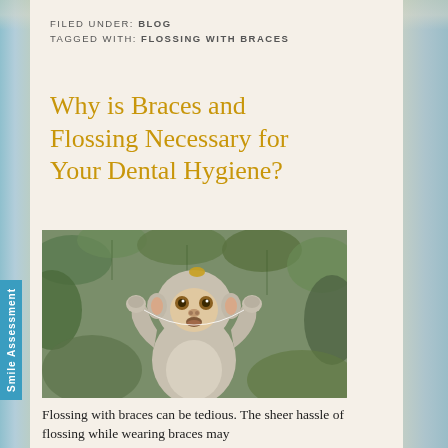FILED UNDER: BLOG
TAGGED WITH: FLOSSING WITH BRACES
Why is Braces and Flossing Necessary for Your Dental Hygiene?
[Figure (photo): A macaque monkey sitting in foliage, appearing to floss its teeth with a strand, looking directly at camera with hands raised near its mouth.]
Flossing with braces can be tedious. The sheer hassle of flossing while wearing braces may